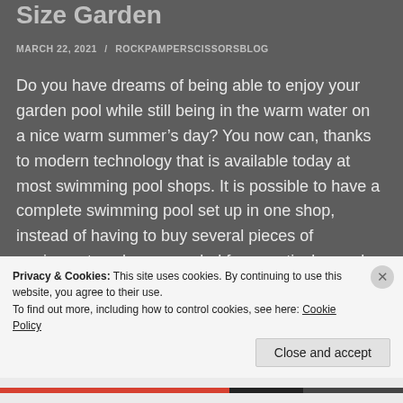Size Garden
MARCH 22, 2021 / ROCKPAMPERSCISSORSBLOG
Do you have dreams of being able to enjoy your garden pool while still being in the warm water on a nice warm summer’s day? You now can, thanks to modern technology that is available today at most swimming pool shops. It is possible to have a complete swimming pool set up in one shop, instead of having to buy several pieces of equipment each one needed for a particular pool. You will notice the huge difference in cost when you are done shopping. A complete Pool Set will usually
Privacy & Cookies: This site uses cookies. By continuing to use this website, you agree to their use.
To find out more, including how to control cookies, see here: Cookie Policy
Close and accept